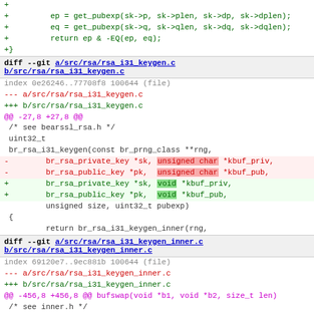+
+         ep = get_pubexp(sk->p, sk->plen, sk->dp, sk->dplen);
+         eq = get_pubexp(sk->q, sk->qlen, sk->dq, sk->dqlen);
+         return ep & -EQ(ep, eq);
+}
diff --git a/src/rsa/rsa_i31_keygen.c b/src/rsa/rsa_i31_keygen.c
index 0e26246..77708f8 100644 (file)
--- a/src/rsa/rsa_i31_keygen.c
+++ b/src/rsa/rsa_i31_keygen.c
@@ -27,8 +27,8 @@
 /* see bearssl_rsa.h */
 uint32_t
 br_rsa_i31_keygen(const br_prng_class **rng,
-        br_rsa_private_key *sk, unsigned char *kbuf_priv,
-        br_rsa_public_key *pk,  unsigned char *kbuf_pub,
+        br_rsa_private_key *sk, void *kbuf_priv,
+        br_rsa_public_key *pk,  void *kbuf_pub,
         unsigned size, uint32_t pubexp)
 {
         return br_rsa_i31_keygen_inner(rng,
diff --git a/src/rsa/rsa_i31_keygen_inner.c b/src/rsa/rsa_i31_keygen_inner.c
index 69120e7..9ec881b 100644 (file)
--- a/src/rsa/rsa_i31_keygen_inner.c
+++ b/src/rsa/rsa_i31_keygen_inner.c
@@ -456,8 +456,8 @@ bufswap(void *b1, void *b2, size_t len)
 /* see inner.h */
 uint32_t
br_rsa_i31_keygen_inner(const br_prng_class **rng